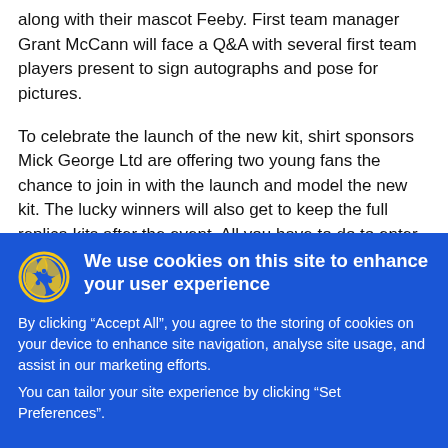along with their mascot Feeby. First team manager Grant McCann will face a Q&A with several first team players present to sign autographs and pose for pictures.
To celebrate the launch of the new kit, shirt sponsors Mick George Ltd are offering two young fans the chance to join in with the launch and model the new kit. The lucky winners will also get to keep the full replica kits after the event. All you have to do to enter the competition is visit www.mickgeorge.co.uk/kitlaunch and enter the details of the child you wish to nominate and why you think they deserve to win the prize. Closes 3rd July 2018.
We use cookies on this site to enhance your user experience
By clicking “Accept All”, you agree to the storing of cookies on your device to enhance site navigation, analyse site usage, and assist in our marketing efforts.
You can tailor your site experience by clicking “Set Preferences”.